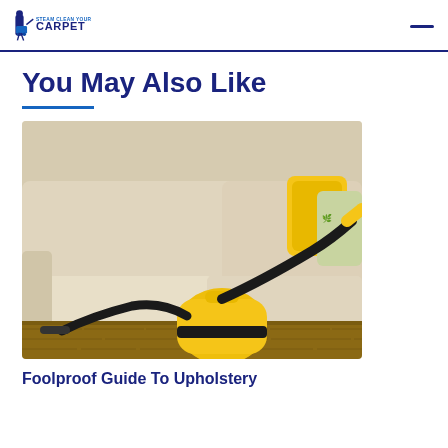Steam Clean Your Carpet
You May Also Like
[Figure (photo): Yellow steam cleaner / vacuum being used on a beige sofa with yellow and patterned cushions, hardwood floor visible in background]
Foolproof Guide To Upholstery